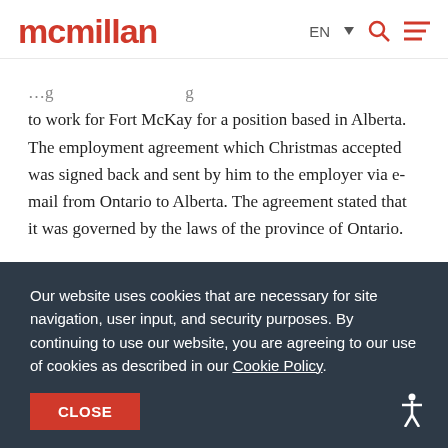mcmillan | EN ▾ 🔍 ≡
to work for Fort McKay for a position based in Alberta. The employment agreement which Christmas accepted was signed back and sent by him to the employer via e-mail from Ontario to Alberta. The agreement stated that it was governed by the laws of the province of Ontario.
Our website uses cookies that are necessary for site navigation, user input, and security purposes. By continuing to use our website, you are agreeing to our use of cookies as described in our Cookie Policy.
CLOSE